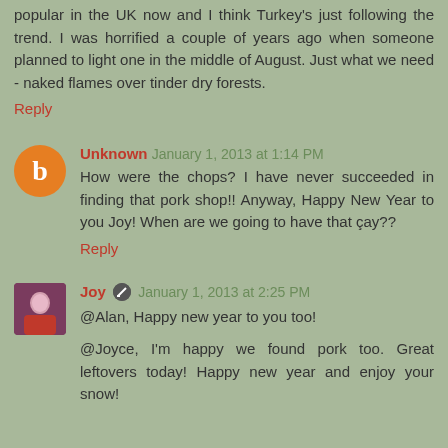popular in the UK now and I think Turkey's just following the trend. I was horrified a couple of years ago when someone planned to light one in the middle of August. Just what we need - naked flames over tinder dry forests.
Reply
Unknown January 1, 2013 at 1:14 PM
How were the chops? I have never succeeded in finding that pork shop!! Anyway, Happy New Year to you Joy! When are we going to have that çay??
Reply
Joy January 1, 2013 at 2:25 PM
@Alan, Happy new year to you too!
@Joyce, I'm happy we found pork too. Great leftovers today! Happy new year and enjoy your snow!